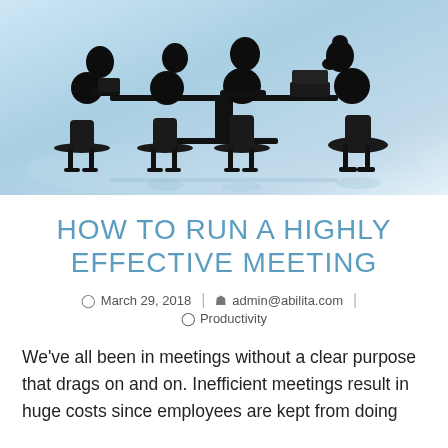[Figure (photo): Silhouettes of four business people sitting around a table with laptops, having a meeting. Light blue gradient background.]
HOW TO RUN A HIGHLY EFFECTIVE MEETING
March 29, 2018 | admin@abilita.com | Productivity
We've all been in meetings without a clear purpose that drags on and on. Inefficient meetings result in huge costs since employees are kept from doing...